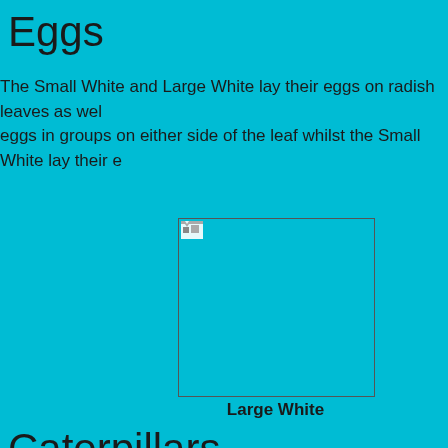Eggs
The Small White and Large White lay their eggs on radish leaves as well as eggs in groups on either side of the leaf whilst the Small White lay their e
[Figure (photo): A broken image placeholder representing a photo of a Large White butterfly egg cluster on a leaf]
Large White
Caterpillars
Because the Large White lays her eggs in clusters, the caterpillars gene become larger, like the one at the bottom left of the page.  The Small Wh
[Figure (photo): A broken image placeholder representing a photo of caterpillars]